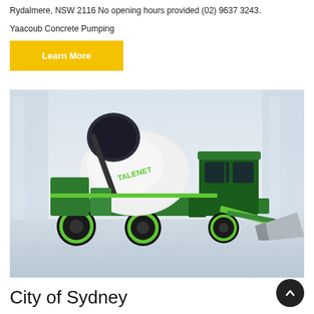Rydalmere, NSW 2116 No opening hours provided (02) 9637 3243.
Yaacoub Concrete Pumping
Learn More
[Figure (photo): A green and white Talenet self-loading concrete mixer truck with a front-loading bucket, photographed in a studio-like setting with a light architectural background.]
City of Sydney